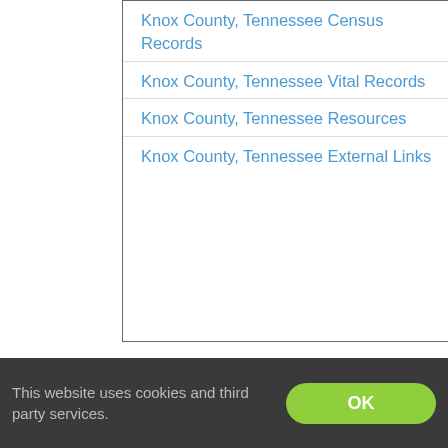Knox County, Tennessee Census Records
Knox County, Tennessee Vital Records
Knox County, Tennessee Resources
Knox County, Tennessee External Links
Knox County, Tennessee (Map It) was created on June 11, 1792 from Greene County and Hawkins County. This Knox County was named in honor of Henry Knox (1750–1806), the first U.S. Secretary of War.
Knox County is bordered by Union County
This website uses cookies and third party services.